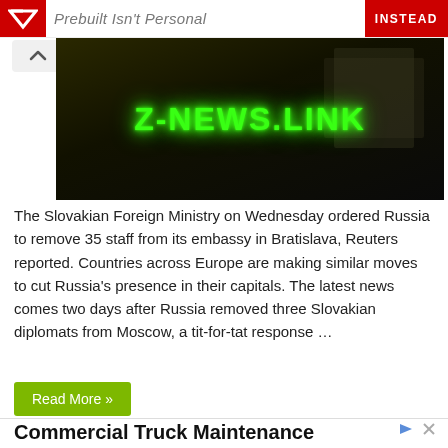[Figure (other): Advertisement banner at top: red logo area on left, grey italic text 'Prebuilt Isn't Personal' in center, red 'INSTEAD' button on right]
[Figure (other): News article image: dark background with bright green glowing text 'Z-NEWS.LINK' centered, building silhouette visible in background]
The Slovakian Foreign Ministry on Wednesday ordered Russia to remove 35 staff from its embassy in Bratislava, Reuters reported. Countries across Europe are making similar moves to cut Russia's presence in their capitals. The latest news comes two days after Russia removed three Slovakian diplomats from Moscow, a tit-for-tat response …
Read More »
Commercial Truck Maintenance
[Figure (photo): Thumbnail photo of a white commercial truck/trailer against a blue sky with trees, advertisement image]
Truck leasing, trailer leasing, commercial rentals, dedicated